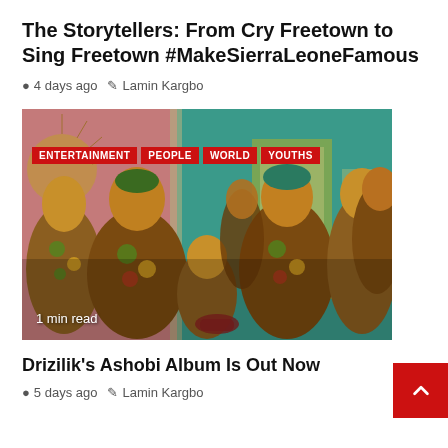The Storytellers: From Cry Freetown to Sing Freetown #MakeSierraLeoneFamous
4 days ago   Lamin Kargbo
[Figure (illustration): Colorful illustration of African women and children in traditional patterned yellow-green clothing in a community setting, with tags ENTERTAINMENT, PEOPLE, WORLD, YOUTHS and '1 min read' overlay]
Drizilik's Ashobi Album Is Out Now
5 days ago   Lamin Kargbo